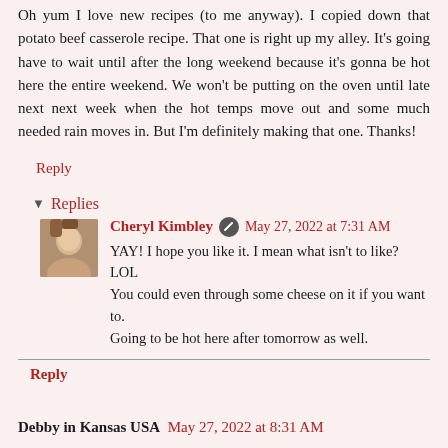Oh yum I love new recipes (to me anyway). I copied down that potato beef casserole recipe. That one is right up my alley. It's going have to wait until after the long weekend because it's gonna be hot here the entire weekend. We won't be putting on the oven until late next next week when the hot temps move out and some much needed rain moves in. But I'm definitely making that one. Thanks!
Reply
▾ Replies
Cheryl Kimbley [icon] May 27, 2022 at 7:31 AM
YAY! I hope you like it. I mean what isn't to like? LOL
You could even through some cheese on it if you want to.
Going to be hot here after tomorrow as well.
Reply
Debby in Kansas USA  May 27, 2022 at 8:31 AM